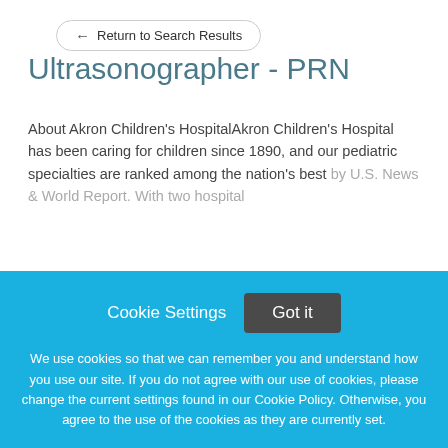← Return to Search Results
Ultrasonographer - PRN
About Akron Children's HospitalAkron Children's Hospital has been caring for children since 1890, and our pediatric specialties are ranked among the nation's best by U.S. News & World Report. With two hospital
This job listing is no longer active.
Cookie Settings   Got it
We use cookies so that we can remember you and understand how you use our site. If you do not agree with our use of cookies, please change the current settings found in our Cookie Policy. Otherwise, you agree to the use of the cookies as they are currently set.